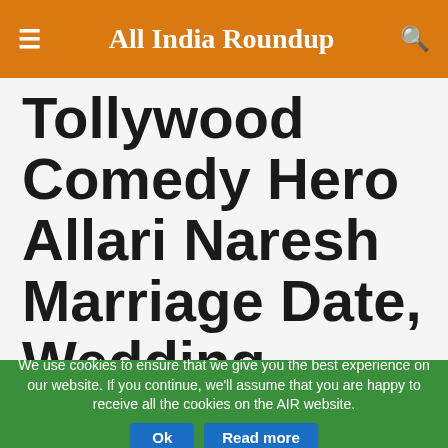All India Roundup
Tollywood Comedy Hero Allari Naresh Marriage Date, Wedding Card, Wedding Venue Ph…
We use cookies to ensure that we give you the best experience on our website. If you continue, we'll assume that you are happy to receive all the cookies on the AIR website.